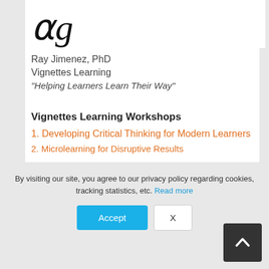[Figure (illustration): Partial handwritten cursive signature or text visible at the top, italic script style]
Ray Jimenez, PhD
Vignettes Learning
"Helping Learners Learn Their Way"
Vignettes Learning Workshops
1. Developing Critical Thinking for Modern Learners
2. Microlearning for Disruptive Results
By visiting our site, you agree to our privacy policy regarding cookies, tracking statistics, etc. Read more